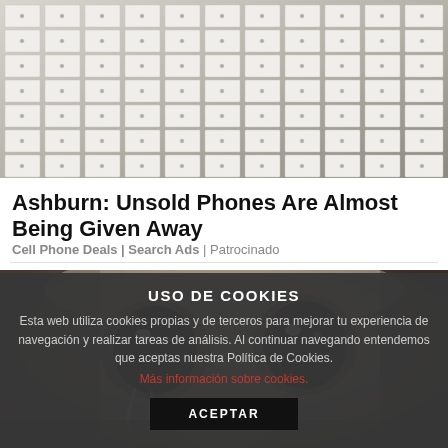[Figure (photo): Stacked white phone/product boxes piled in a warehouse]
Ashburn: Unsold Phones Are Almost Being Given Away
Cell Phone Deals | Search Ads | Patrocinado
[Figure (photo): Close-up photo of a crying cat with large teary eyes]
USO DE COOKIES
Esta web utiliza cookies propias y de terceros para mejorar tu experiencia de navegación y realizar tareas de análisis. Al continuar navegando entendemos que aceptas nuestra Política de Cookies.
Más información sobre cookies.